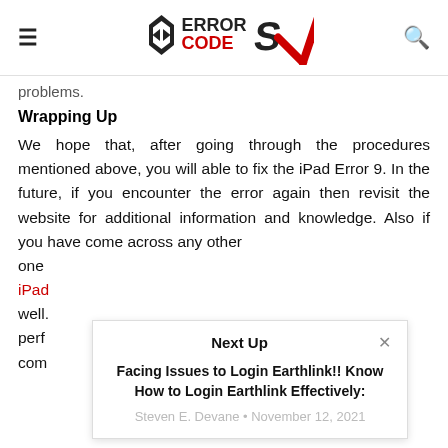Error Code SX
problems.
Wrapping Up
We hope that, after going through the procedures mentioned above, you will able to fix the iPad Error 9. In the future, if you encounter the error again then revisit the website for additional information and knowledge. Also if you have come across any other one iPad well. perfo comi
[Figure (screenshot): Next Up overlay popup showing article 'Facing Issues to Login Earthlink!! Know How to Login Earthlink Effectively:' by Steven E. Devane, November 12, 2021]